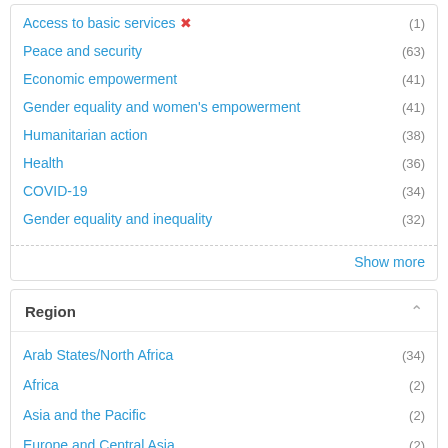Access to basic services (1)
Peace and security (63)
Economic empowerment (41)
Gender equality and women's empowerment (41)
Humanitarian action (38)
Health (36)
COVID-19 (34)
Gender equality and inequality (32)
Show more
Region
Arab States/North Africa (34)
Africa (2)
Asia and the Pacific (2)
Europe and Central Asia (2)
European Union (2)
Latin America and the Caribbean (2)